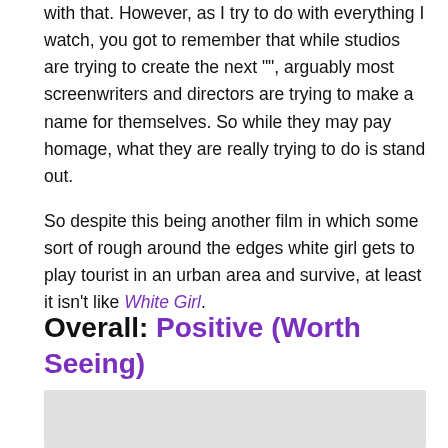with that. However, as I try to do with everything I watch, you got to remember that while studios are trying to create the next "", arguably most screenwriters and directors are trying to make a name for themselves. So while they may pay homage, what they are really trying to do is stand out.
So despite this being another film in which some sort of rough around the edges white girl gets to play tourist in an urban area and survive, at least it isn't like White Girl.
Overall: Positive (Worth Seeing)
[Figure (photo): Gray image placeholder at the bottom of the page]